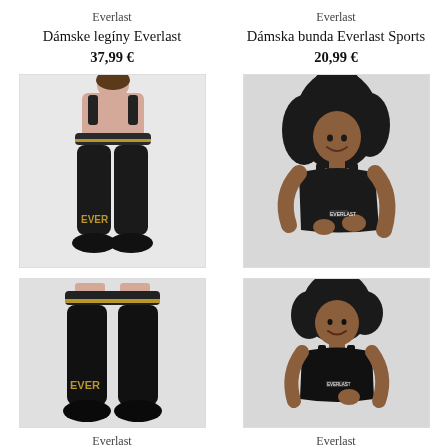Everlast
Dámske legíny Everlast
37,99 €
[Figure (photo): Woman wearing black Everlast leggings with gold logo, paired with black sneakers, white background]
Everlast
Dámska bunda Everlast Sports
20,99 €
[Figure (photo): Woman wearing black sports bra/top, smiling, dark curly hair, light grey background]
Everlast
Everlast Legíny 811580-50...
33,00 €
Everlast
Everlast Ribbed Seamless
24,99 €